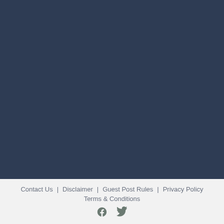[Figure (other): Dark navy blue background section filling the upper portion of the page]
Contact Us  Disclaimer  Guest Post Rules  Privacy Policy  Terms & Conditions
[Figure (other): Social media icons: Facebook and Twitter]